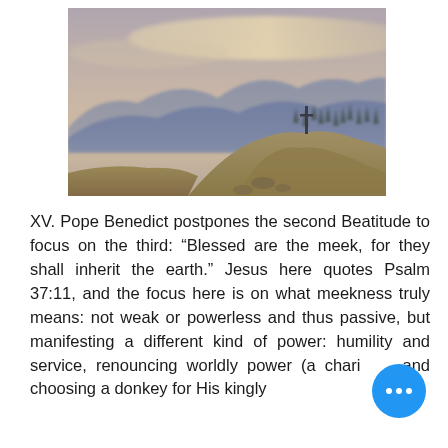[Figure (photo): A mountainous landscape at dusk showing a hilltop with a cross silhouetted against a pale sky, with bluish mountains in the background and dried golden grass in the foreground.]
XV. Pope Benedict postpones the second Beatitude to focus on the third: “Blessed are the meek, for they shall inherit the earth.” Jesus here quotes Psalm 37:11, and the focus here is on what meekness truly means: not weak or powerless and thus passive, but manifesting a different kind of power: humility and service, renouncing worldly power (a chari and choosing a donkey for His kingly